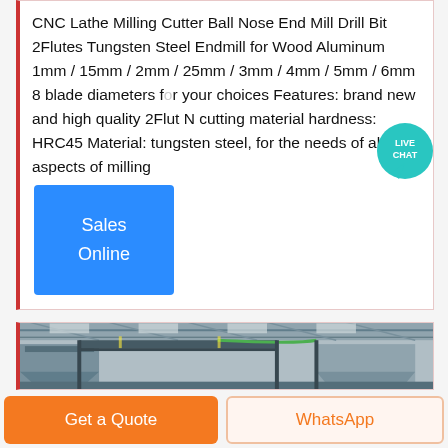CNC Lathe Milling Cutter Ball Nose End Mill Drill Bit 2Flutes Tungsten Steel Endmill for Wood Aluminum 1mm / 15mm / 2mm / 25mm / 3mm / 4mm / 5mm / 6mm 8 blade diameters for your choices Features: brand new and high quality 2Flut N cutting material hardness: HRC45 Material: tungsten steel, for the needs of all aspects of milling
[Figure (other): Live Chat bubble badge overlay in top-right area]
Sales Online
[Figure (photo): Interior of a factory/industrial facility showing overhead steel structure, conveyor systems, and industrial equipment]
Get a Quote
WhatsApp